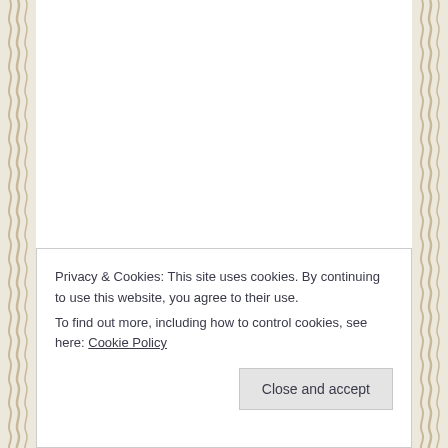[Figure (illustration): Decorative page with wavy/rope-like borders on left and right sides, white content area in center, mostly blank upper portion of a web page]
Privacy & Cookies: This site uses cookies. By continuing to use this website, you agree to their use.
To find out more, including how to control cookies, see here: Cookie Policy
Close and accept
seemed like a dangerous and scary place. However,